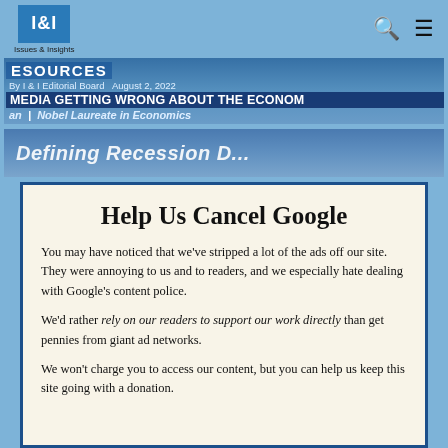I&I Issues & Insights
[Figure (screenshot): Banner image showing 'ESOURCES' text, byline 'By I & I Editorial Board  August 2, 2022', headline 'MEDIA GETTING WRONG ABOUT THE ECONOMY', and 'an | Nobel Laureate in Economics']
[Figure (screenshot): Second banner showing partial italic text beginning with 'Defining Recession D...']
Help Us Cancel Google
You may have noticed that we've stripped a lot of the ads off our site. They were annoying to us and to readers, and we especially hate dealing with Google's content police.
We'd rather rely on our readers to support our work directly than get pennies from giant ad networks.
We won't charge you to access our content, but you can help us keep this site going with a donation.